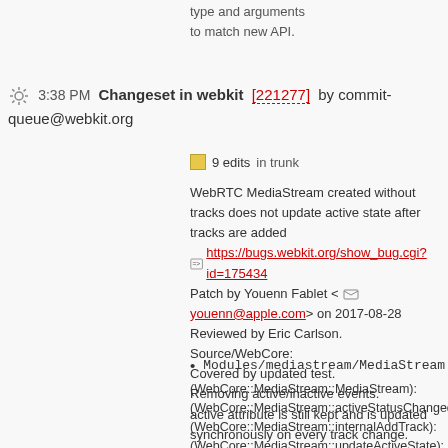type and arguments
to match new API.
3:38 PM Changeset in webkit [221277] by commit-queue@webkit.org
9 edits   in trunk
WebRTC MediaStream created without tracks does not update active state after tracks are added
=> https://bugs.webkit.org/show_bug.cgi?id=175434
Patch by Youenn Fablet <youenn@apple.com> on 2017-08-28
Reviewed by Eric Carlson.
Source/WebCore:
Covered by updated test.
Removing active/inactive events.
active attribute is still kept and is updated synchronously on every track change.
Modules/mediastream/MediaStream.cpp:
(WebCore::MediaStream::MediaStream):
(WebCore::MediaStream::activeStatusChanged):
(WebCore::MediaStream::internalAddTrack):
(WebCore::MediaStream::updateActiveState):
(WebCore::MediaStream::hasPendingActivity const):
(WebCore::MediaStream::scheduleActiveStateChange): Deleted.
(WebCore::MediaStream::activityEventTimerFired): Deleted.